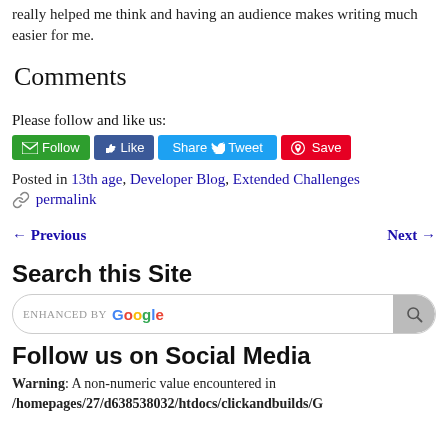really helped me think and having an audience makes writing much easier for me.
Comments
Please follow and like us:
[Figure (other): Social media buttons: Follow (green), Like (blue), Share/Tweet (blue), Save (red Pinterest)]
Posted in 13th age, Developer Blog, Extended Challenges
permalink
← Previous    Next →
Search this Site
[Figure (other): Search bar with ENHANCED BY Google label and search button]
Follow us on Social Media
Warning: A non-numeric value encountered in /homepages/27/d638538032/htdocs/clickandbuilds/G